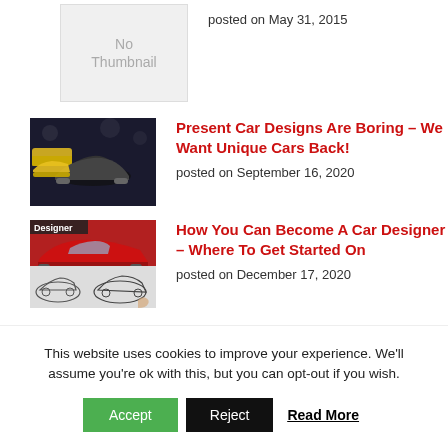[Figure (photo): No Thumbnail placeholder box]
posted on May 31, 2015
[Figure (photo): Dark image showing various sports/racing cars in a studio or garage setting]
Present Car Designs Are Boring – We Want Unique Cars Back!
posted on September 16, 2020
[Figure (photo): Image showing a red sports car and car design sketches with 'Designer' label]
How You Can Become A Car Designer – Where To Get Started On
posted on December 17, 2020
This website uses cookies to improve your experience. We'll assume you're ok with this, but you can opt-out if you wish.